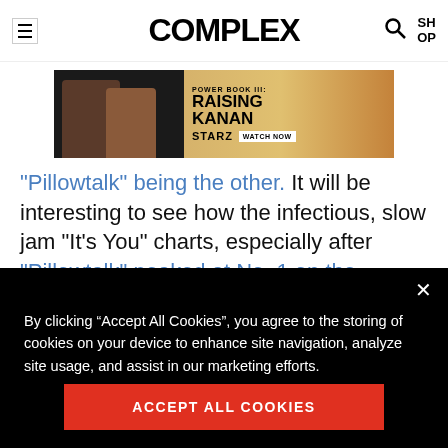COMPLEX
[Figure (photo): Advertisement banner for Power Book III: Raising Kanan on STARZ with two figures and Watch Now button]
"Pillowtalk" being the other. It will be interesting to see how the infectious, slow jam "It's You" charts, especially after "Pillowtalk" peaked at No. 1 on the Billboard Hot 100 chart earlier this month. Listen to
By clicking “Accept All Cookies”, you agree to the storing of cookies on your device to enhance site navigation, analyze site usage, and assist in our marketing efforts.
ACCEPT ALL COOKIES